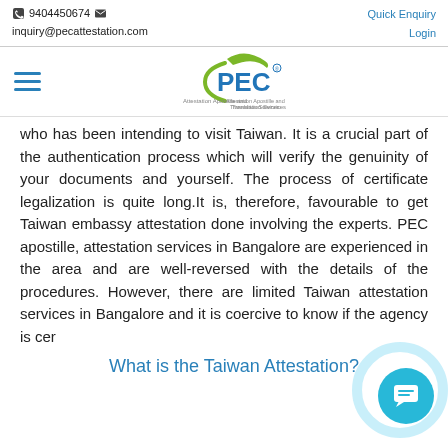📱 9404450674 ✉  Quick Enquiry  Login  inquiry@pecattestation.com
[Figure (logo): PEC Attestation Apostille and Translation Services logo]
who has been intending to visit Taiwan. It is a crucial part of the authentication process which will verify the genuinity of your documents and yourself. The process of certificate legalization is quite long.It is, therefore, favourable to get Taiwan embassy attestation done involving the experts. PEC apostille, attestation services in Bangalore are experienced in the area and are well-reversed with the details of the procedures. However, there are limited Taiwan attestation services in Bangalore and it is coercive to know if the agency is cer
What is the Taiwan Attestation?